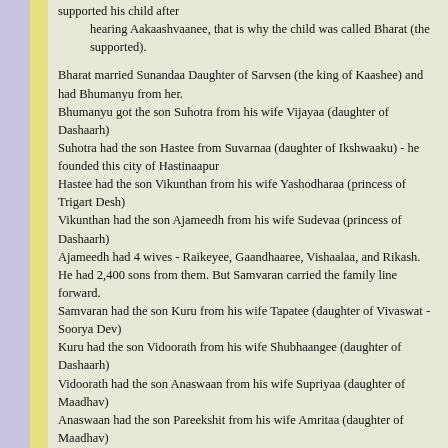supported his child after hearing Aakaashvaanee, that is why the child was called Bharat (the supported).
Bharat married Sunandaa Daughter of Sarvsen (the king of Kaashee) and had Bhumanyu from her.
Bhumanyu got the son Suhotra from his wife Vijayaa (daughter of Dashaarh)
Suhotra had the son Hastee from Suvarnaa (daughter of Ikshwaaku) - he founded this city of Hastinaapur
Hastee had the son Vikunthan from his wife Yashodharaa (princess of Trigart Desh)
Vikunthan had the son Ajameedh from his wife Sudevaa (princess of Dashaarh)
Ajameedh had 4 wives - Raikeyee, Gaandhaaree, Vishaalaa, and Rikash. He had 2,400 sons from them. But Samvaran carried the family line forward.
Samvaran had the son Kuru from his wife Tapatee (daughter of Vivaswat - Soorya Dev)
Kuru had the son Vidoorath from his wife Shubhaangee (daughter of Dashaarh)
Vidoorath had the son Anaswaan from his wife Supriyaa (daughter of Maadhav)
Anaswaan had the son Pareekshit from his wife Amritaa (daughter of Maadhav)
Pareekshit had the son Bhoomsen from his wife Suvaasaa